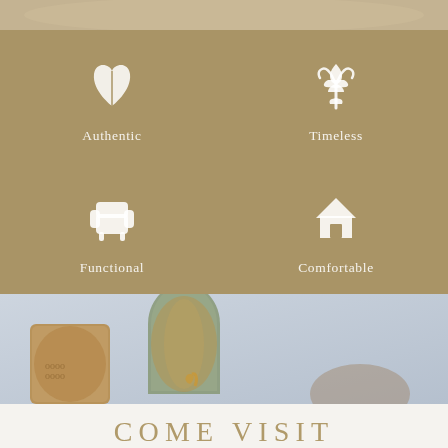[Figure (photo): Top portion of a lifestyle photo showing a person resting on a sofa with decorative pillows]
[Figure (infographic): Tan/khaki background with four icons in a 2x2 grid: leaf icon labeled 'Authentic', fleur-de-lis icon labeled 'Timeless', armchair icon labeled 'Functional', house icon labeled 'Comfortable']
[Figure (photo): Photo of decorative ceramic vases and vessels in warm golden and earth tones against a light blue-grey background]
COME VISIT